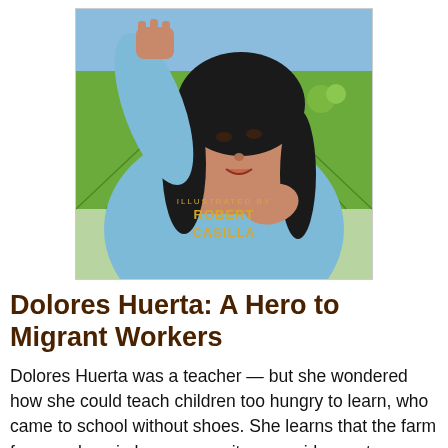[Figure (illustration): Book cover illustration showing Dolores Huerta, a woman with long dark hair wearing a light blue shirt, raising her fist in the air with agricultural fields in the background. Text on cover reads 'ILLUSTRATED BY ROBERT CASILLA']
Dolores Huerta: A Hero to Migrant Workers
Dolores Huerta was a teacher — but she wondered how she could teach children too hungry to learn, who came to school without shoes. She learns that the farm farm workers in her community are paid poverty wages, even while they work under dangerous conditions without adequate resources